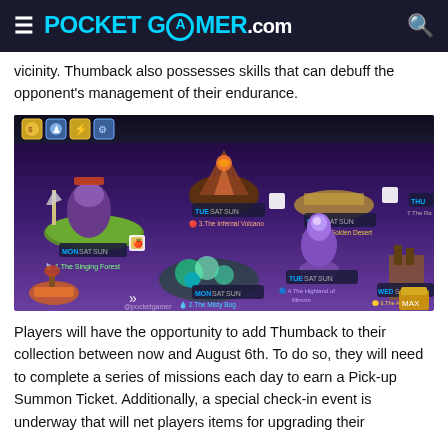≡ POCKET GAMER.com 🔍
vicinity. Thumback also possesses skills that can debuff the opponent's management of their endurance.
[Figure (screenshot): In-game map screenshot showing multiple locations including: 1.The Singing Forest (MON SAT SUN), 2.The Misty Bog (MON SAT SUN), 3.The Infernal Volcano (TUE SAT SUN), 4.The Highland of Mirrors (TUE SAT SUN), 5.The Golden Desert (WED SAT SUN), 6.The Aban Factory (WED SAT SUN), 7.The Ra... (THU). Various fantasy characters and floating islands visible.]
Players will have the opportunity to add Thumback to their collection between now and August 6th. To do so, they will need to complete a series of missions each day to earn a Pick-up Summon Ticket. Additionally, a special check-in event is underway that will net players items for upgrading their